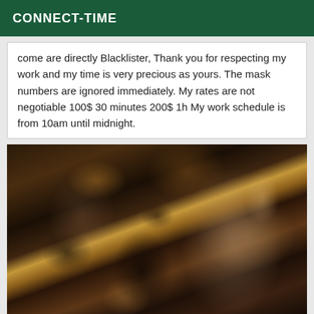CONNECT-TIME
come are directly Blacklister, Thank you for respecting my work and my time is very precious as yours. The mask numbers are ignored immediately. My rates are not negotiable 100$ 30 minutes 200$ 1h My work schedule is from 10am until midnight.
[Figure (photo): A woman with long curly dark hair posing on a couch, wearing dark clothing and fishnet stockings, with leopard print visible in the background.]